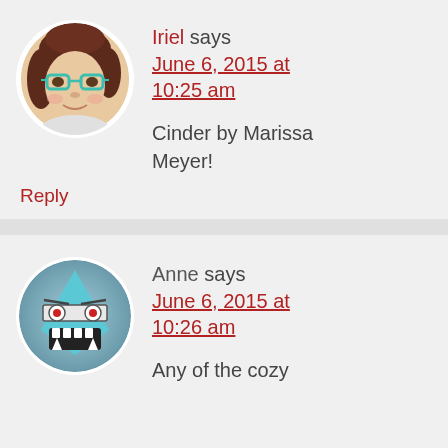[Figure (photo): Circular avatar photo of a young woman with red hair and teal-framed glasses]
Iriel says
June 6, 2015 at 10:25 am

Cinder by Marissa Meyer!
Reply
[Figure (illustration): Circular avatar illustration of a cartoon monster with glasses and fangs on a grey-blue background]
Anne says
June 6, 2015 at 10:26 am

Any of the cozy